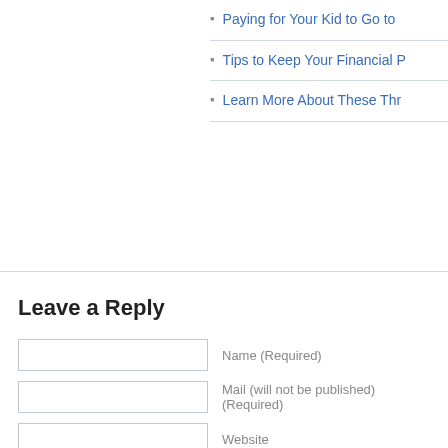Paying for Your Kid to Go to
Tips to Keep Your Financial P
Learn More About These Thr
Leave a Reply
Name (Required)
Mail (will not be published) (Required)
Website